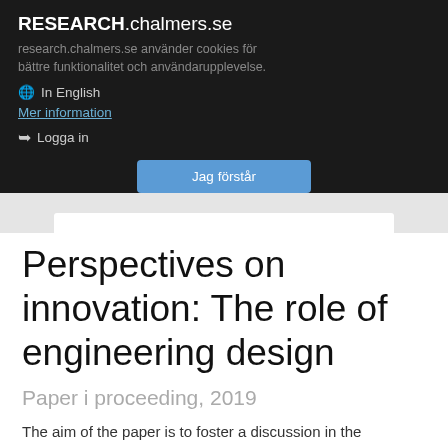RESEARCH.chalmers.se
research.chalmers.se använder cookies för bättre funktionalitet och användarupplevelse.
🌐 In English
Mer information
↩ Logga in
Jag förstår
Perspectives on innovation: The role of engineering design
Paper i proceeding, 2019
The aim of the paper is to foster a discussion in the engineering design community about its understanding of